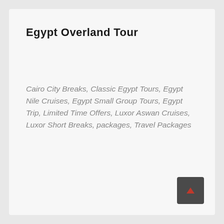Egypt Overland Tour
Cairo City Breaks, Classic Egypt Tours, Egypt Nile Cruises, Egypt Small Group Tours, Egypt Trip, Limited Time Offers, Luxor Aswan Cruises, Luxor Short Breaks, packages, Travel Packages